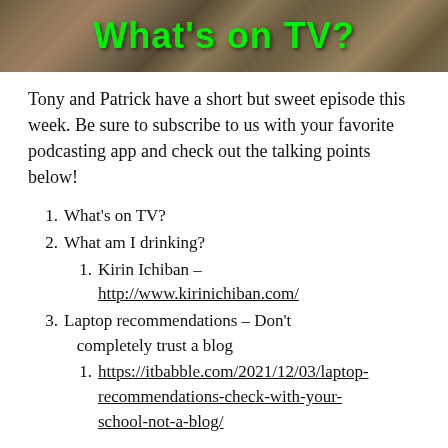[Figure (photo): Stone/granite textured banner with green bold text reading 'What's on TV?']
Tony and Patrick have a short but sweet episode this week. Be sure to subscribe to us with your favorite podcasting app and check out the talking points below!
1. What's on TV?
2. What am I drinking?
1. Kirin Ichiban – http://www.kirinichiban.com/
3. Laptop recommendations – Don't completely trust a blog
1. https://itbabble.com/2021/12/03/laptop-recommendations-check-with-your-school-not-a-blog/